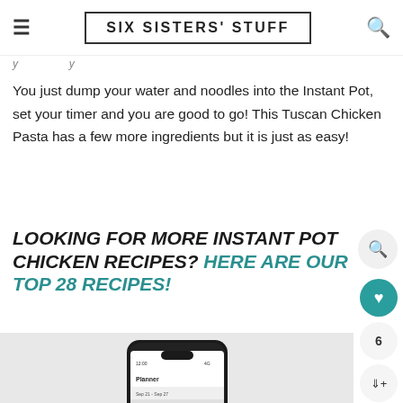SIX SISTERS' STUFF
You just dump your water and noodles into the Instant Pot, set your timer and you are good to go! This Tuscan Chicken Pasta has a few more ingredients but it is just as easy!
LOOKING FOR MORE INSTANT POT CHICKEN RECIPES? HERE ARE OUR TOP 28 RECIPES!
[Figure (screenshot): Mobile phone mockup showing a meal planning app with a 'Planner' screen.]